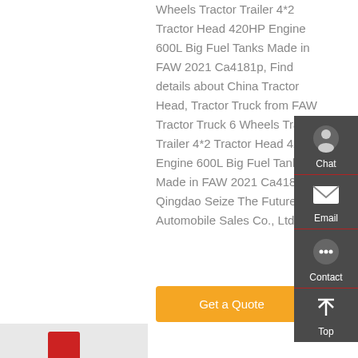Wheels Tractor Trailer 4*2 Tractor Head 420HP Engine 600L Big Fuel Tanks Made in FAW 2021 Ca4181p, Find details about China Tractor Head, Tractor Truck from FAW Tractor Truck 6 Wheels Tractor Trailer 4*2 Tractor Head 420HP Engine 600L Big Fuel Tanks Made in FAW 2021 Ca4181p - Qingdao Seize The Future Automobile Sales Co., Ltd.
Get a Quote
[Figure (screenshot): Sidebar with Chat, Email, Contact, and Top navigation icons on dark gray background]
[Figure (photo): Partial thumbnail of a red truck at the bottom left]